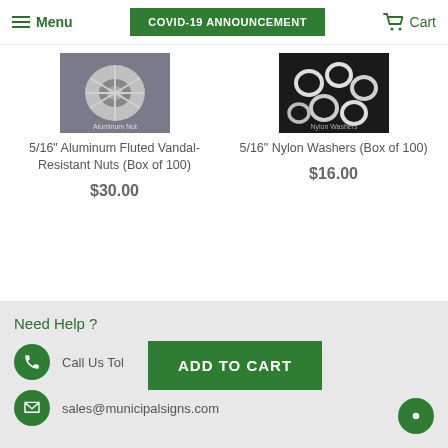Menu | COVID-19 ANNOUNCEMENT | Cart
[Figure (photo): Photo of silver aluminum fluted vandal-resistant nuts]
5/16" Aluminum Fluted Vandal-Resistant Nuts (Box of 100)
$30.00
[Figure (photo): Photo of white nylon washers scattered on dark background]
5/16" Nylon Washers (Box of 100)
$16.00
Need Help ?
Call Us Toll
sales@municipalsigns.com
ADD TO CART